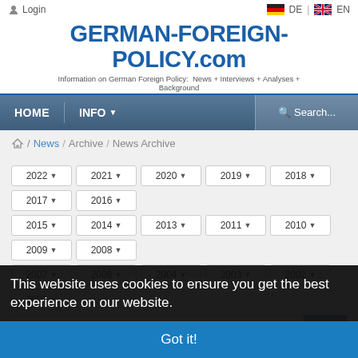Login | DE | EN
GERMAN-FOREIGN-POLICY.com
Information on German Foreign Policy: News + Interviews + Analyses + Background
HOME   INFO▾   Search...
🏠 / News / Archive / News Archive
2022 ▾ 2021 ▾ 2020 ▾ 2019 ▾ 2018 ▾ 2017 ▾ 2016 ▾
2015 ▾ 2014 ▾ 2013 ▾ 2011 ▾ 2010 ▾ 2009 ▾ 2008 ▾
2007 ▾ 2006 ▾ 2004 ▾ 2003 ▾ 2002 ▾ 2001 ▾
25
This website uses cookies to ensure you get the best experience on our website.
Got it!